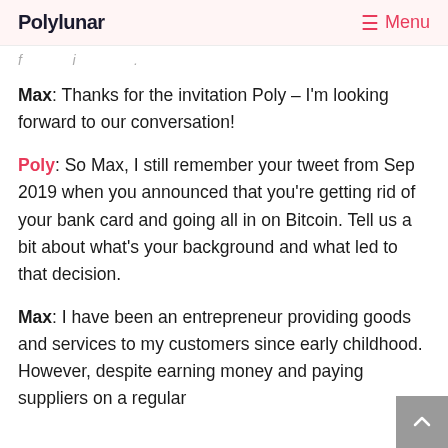Polylunar   Menu
(partial text, truncated from previous page)
Max: Thanks for the invitation Poly – I'm looking forward to our conversation!
Poly: So Max, I still remember your tweet from Sep 2019 when you announced that you're getting rid of your bank card and going all in on Bitcoin. Tell us a bit about what's your background and what led to that decision.
Max: I have been an entrepreneur providing goods and services to my customers since early childhood. However, despite earning money and paying suppliers on a regular